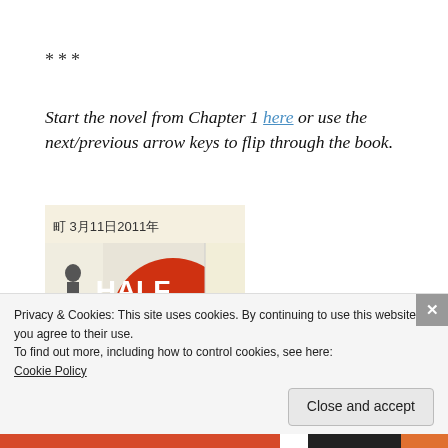***
Start the novel from Chapter 1 here or use the next/previous arrow keys to flip through the book.
[Figure (photo): Book cover of 'Half Life: A Hana Walker Mystery' by Patrick, showing Japanese text '町 3月11日2011年', a red circle, manga-style figure, and bold title text.]
Privacy & Cookies: This site uses cookies. By continuing to use this website, you agree to their use.
To find out more, including how to control cookies, see here: Cookie Policy
Close and accept